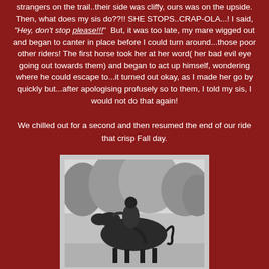strangers on the trail..their side was cliffy, ours was on the upside. Then, what does my sis do??!! SHE STOPS..CRAP-OLA...! I said, "Hey, don't stop please!!!" But, it was too late, my mare wigged out and began to canter in place before I could turn around...those poor other riders! The first horse took her at her word( her bad evil eye going out towards them) and began to act up himself, wondering where he could escape to...it turned out okay, as I made her go by quickly but...after apologising profusely so to them, I told my sis, I would not do that again!
We chilled out for a second and then resumed the end of our ride that crisp Fall day.
[Figure (photo): Black and white photograph of a person riding a dark horse, viewed from the side/rear, with trees in the background.]